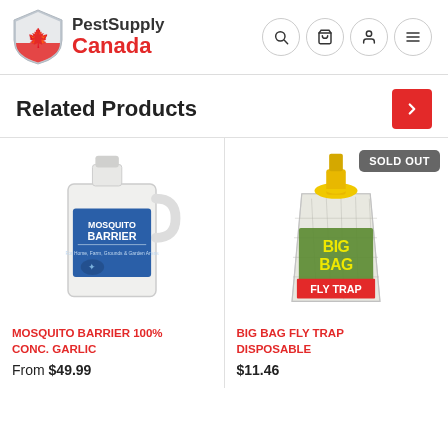[Figure (logo): PestSupply Canada logo with red shield and maple leaf, with navigation icons (search, cart, user, menu)]
Related Products
[Figure (photo): Mosquito Barrier 100% Conc. Garlic product - white gallon jug with blue label]
[Figure (photo): Big Bag Fly Trap Disposable product - bag with yellow top and SOLD OUT badge]
MOSQUITO BARRIER 100% CONC. GARLIC
From $49.99
BIG BAG FLY TRAP DISPOSABLE
$11.46